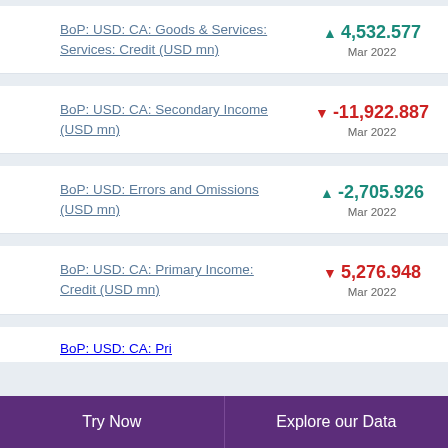BoP: USD: CA: Goods & Services: Services: Credit (USD mn)
BoP: USD: CA: Secondary Income (USD mn)
BoP: USD: Errors and Omissions (USD mn)
BoP: USD: CA: Primary Income: Credit (USD mn)
BoP: USD: CA: Pri…
Try Now   Explore our Data